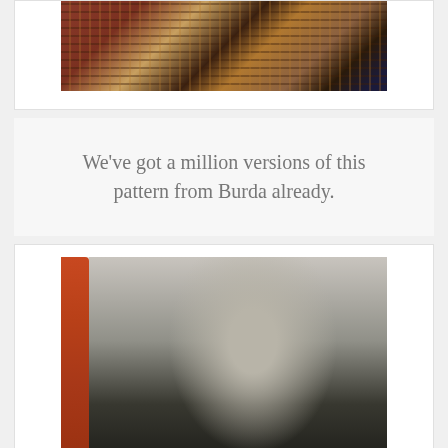[Figure (photo): Fashion photo showing feet/legs with patterned textile and dark boots on a reddish-brown background]
We've got a million versions of this pattern from Burda already.
[Figure (photo): Fashion photo of a blonde woman wearing a patterned grey top and black trousers, leaning against a wall next to a red pole]